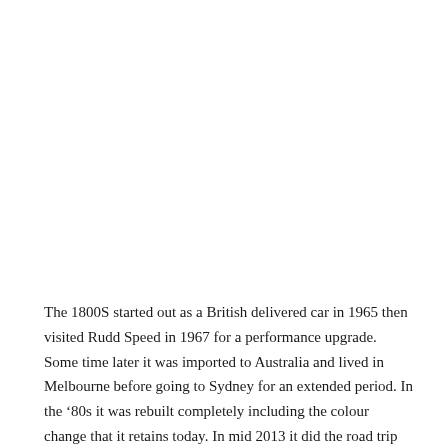The 1800S started out as a British delivered car in 1965 then visited Rudd Speed in 1967 for a performance upgrade. Some time later it was imported to Australia and lived in Melbourne before going to Sydney for an extended period. In the ’80s it was rebuilt completely including the colour change that it retains today. In mid 2013 it did the road trip down the Hume back to Melbourne where it now lives. It still retains all of the